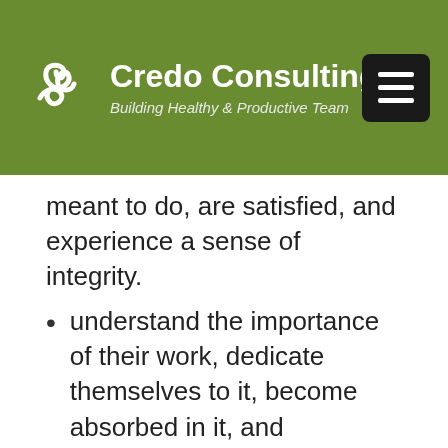Credo Consulting — Building Healthy & Productive Team
meant to do, are satisfied, and experience a sense of integrity.
understand the importance of their work, dedicate themselves to it, become absorbed in it, and energetically attack it.
In other words, people who experience meaning in their work are more engaged in it. Consequently, the company enjoys higher productivity, quality, customer service, customer loyalty, and profitability. While those coveted outcomes go up, the